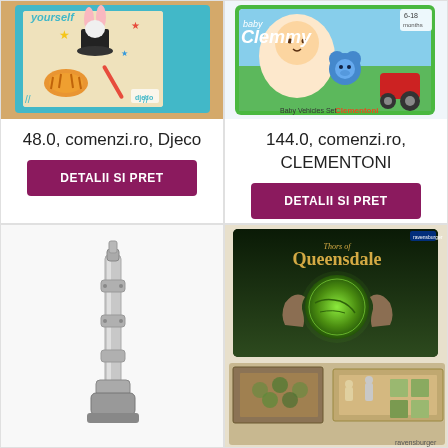[Figure (photo): Djeco art/activity kit with magic rabbit and tiger illustration on teal and craft paper box]
48.0, comenzi.ro, Djeco
DETALII SI PRET
[Figure (photo): Clementoni Baby Clemmy Baby Vehicles Set box with baby, blue bear figure and red tractor, colorful building blocks]
144.0, comenzi.ro, CLEMENTONI
DETALII SI PRET
[Figure (photo): White/silver metallic robot arm or mechanical device on white background]
[Figure (photo): Ravensburger Thors of Queensdale board game box showing hands holding a glowing green world, with game components spread below]